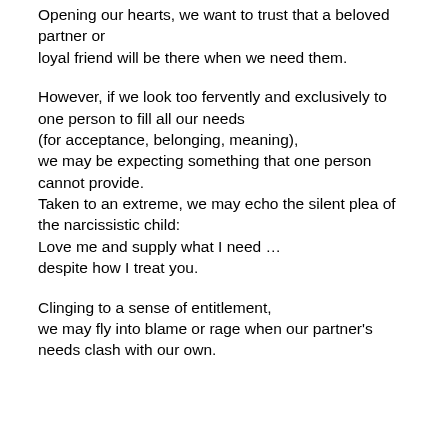Opening our hearts, we want to trust that a beloved partner or loyal friend will be there when we need them.
However, if we look too fervently and exclusively to one person to fill all our needs (for acceptance, belonging, meaning), we may be expecting something that one person cannot provide. Taken to an extreme, we may echo the silent plea of the narcissistic child: Love me and supply what I need … despite how I treat you.
Clinging to a sense of entitlement, we may fly into blame or rage when our partner's needs clash with our own.